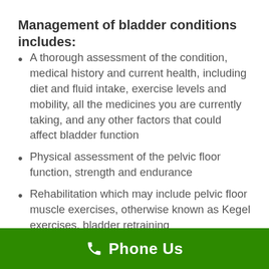Management of bladder conditions includes:
A thorough assessment of the condition, medical history and current health, including diet and fluid intake, exercise levels and mobility, all the medicines you are currently taking, and any other factors that could affect bladder function
Physical assessment of the pelvic floor function, strength and endurance
Rehabilitation which may include pelvic floor muscle exercises, otherwise known as Kegel exercises, bladder retraining
Phone Us